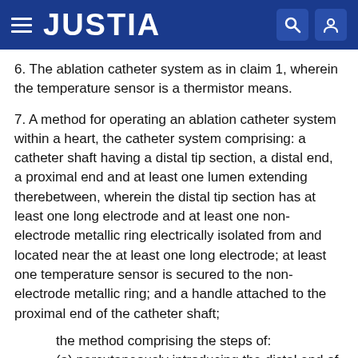JUSTIA
6. The ablation catheter system as in claim 1, wherein the temperature sensor is a thermistor means.
7. A method for operating an ablation catheter system within a heart, the catheter system comprising: a catheter shaft having a distal tip section, a distal end, a proximal end and at least one lumen extending therebetween, wherein the distal tip section has at least one long electrode and at least one non-electrode metallic ring electrically isolated from and located near the at least one long electrode; at least one temperature sensor is secured to the non-electrode metallic ring; and a handle attached to the proximal end of the catheter shaft;
the method comprising the steps of:
(a) percutaneously introducing the distal end of the